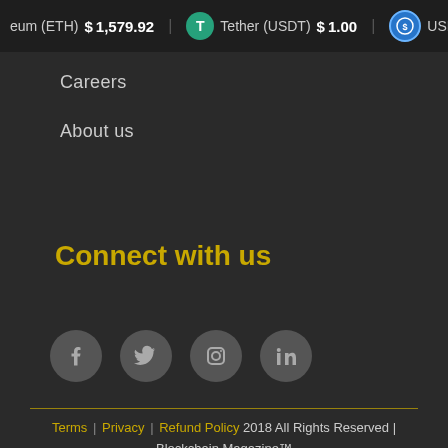eum (ETH) $1,579.92  Tether (USDT) $1.00  USD Coin (
Careers
About us
Connect with us
[Figure (infographic): Four circular social media icons: Facebook, Twitter, Instagram, LinkedIn]
Terms | Privacy | Refund Policy 2018 All Rights Reserved | Blockchain Magazine™